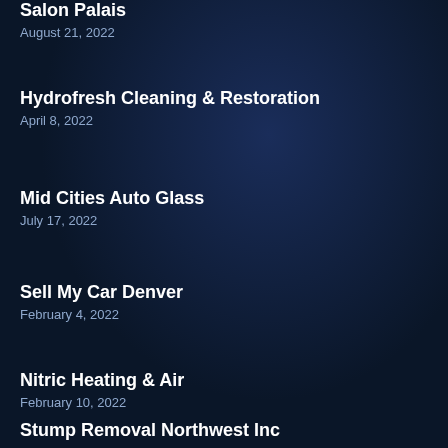Salon Palais
August 21, 2022
Hydrofresh Cleaning & Restoration
April 8, 2022
Mid Cities Auto Glass
July 17, 2022
Sell My Car Denver
February 4, 2022
Nitric Heating & Air
February 10, 2022
Stump Removal Northwest Inc